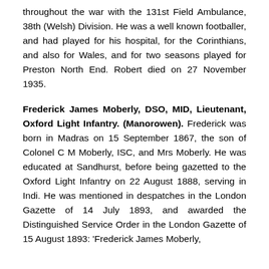throughout the war with the 131st Field Ambulance, 38th (Welsh) Division. He was a well known footballer, and had played for his hospital, for the Corinthians, and also for Wales, and for two seasons played for Preston North End. Robert died on 27 November 1935.
Frederick James Moberly, DSO, MID, Lieutenant, Oxford Light Infantry. (Manorowen). Frederick was born in Madras on 15 September 1867, the son of Colonel C M Moberly, ISC, and Mrs Moberly. He was educated at Sandhurst, before being gazetted to the Oxford Light Infantry on 22 August 1888, serving in Indi. He was mentioned in despatches in the London Gazette of 14 July 1893, and awarded the Distinguished Service Order in the London Gazette of 15 August 1893: 'Frederick James Moberly,